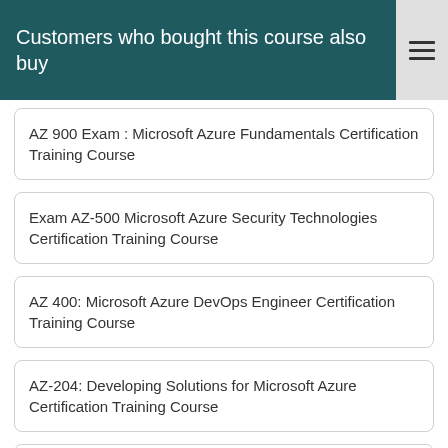Customers who bought this course also buy
AZ 900 Exam : Microsoft Azure Fundamentals Certification Training Course
Exam AZ-500 Microsoft Azure Security Technologies Certification Training Course
AZ 400: Microsoft Azure DevOps Engineer Certification Training Course
AZ-204: Developing Solutions for Microsoft Azure Certification Training Course
Microsoft Azure Data Fundamentals DP 900 Certification Training Course